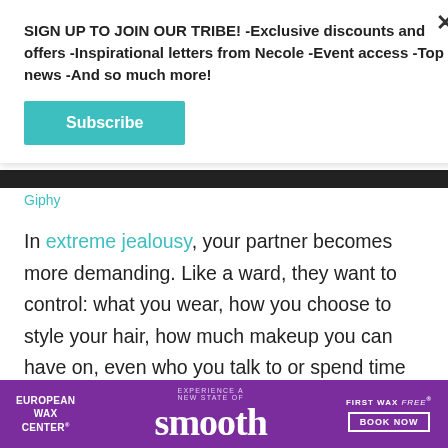SIGN UP TO JOIN OUR TRIBE! -Exclusive discounts and offers -Inspirational letters from Necole -Event access -Top news -And so much more!
Subscribe
[Figure (photo): Dark horizontal image strip, partially cropped photo]
Giphy
In extreme jealousy, your partner becomes more demanding. Like a ward, they want to control: what you wear, how you choose to style your hair, how much makeup you can have on, even who you talk to or spend time with. Every second of your day becomes monitored. As if on probation, you must
[Figure (infographic): European Wax Center advertisement banner with purple background. Text: EXPERIENCE A NEW STATE OF smooth FIRST WAX free BOOK NOW]